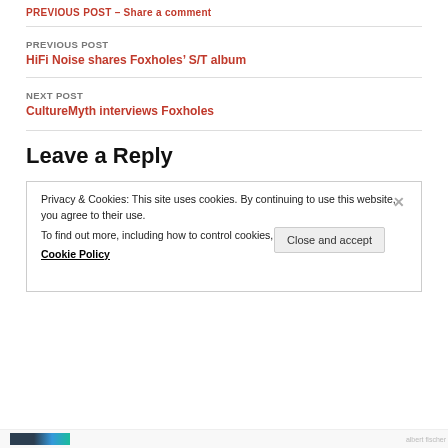PREVIOUS POST
HiFi Noise shares Foxholes’ S/T album
NEXT POST
CultureMyth interviews Foxholes
Leave a Reply
Privacy & Cookies: This site uses cookies. By continuing to use this website, you agree to their use.
To find out more, including how to control cookies, see here: Cookie Policy
Close and accept